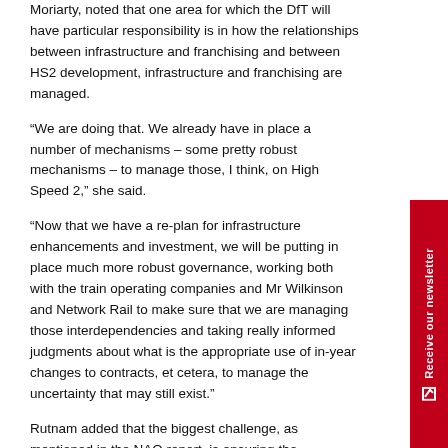Moriarty, noted that one area for which the DfT will have particular responsibility is in how the relationships between infrastructure and franchising and between HS2 development, infrastructure and franchising are managed.
“We are doing that. We already have in place a number of mechanisms – some pretty robust mechanisms – to manage those, I think, on High Speed 2,” she said.
“Now that we have a re-plan for infrastructure enhancements and investment, we will be putting in place much more robust governance, working both with the train operating companies and Mr Wilkinson and Network Rail to make sure that we are managing those interdependencies and taking really informed judgments about what is the appropriate use of in-year changes to contracts, et cetera, to manage the uncertainty that may still exist.”
Rutnam added that the biggest challenge, as mentioned in the NAO report, is ensuring the relationship between the significant investment programmes happening in infrastructure and franchising itself are cleverly managed.
“We need to ensure that we keep the terms of the commercial offer that we are putting to the market under review to ensure that it strikes the right balance between...
[Figure (other): Red vertical sidebar banner on the right edge reading 'Receive our newsletter' with a checkbox/arrow icon]